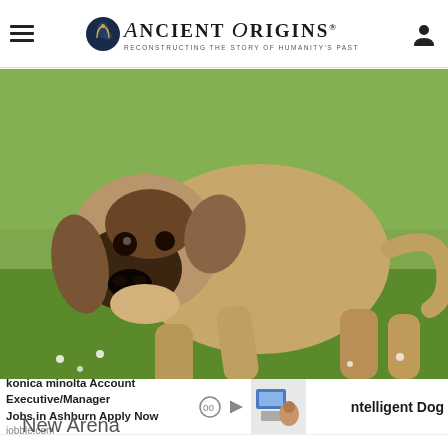Ancient Origins — Reconstructing the story of humanity's past
[Figure (photo): A large fawn-colored mastiff puppy standing on green grass, looking toward the camera with a wrinkled face and dark muzzle. Green field with white flowers in background.]
konica minolta Account Executive/Manager Jobs in Ashburn Apply Now
iobble.com
ntelligent Dog
New Arena